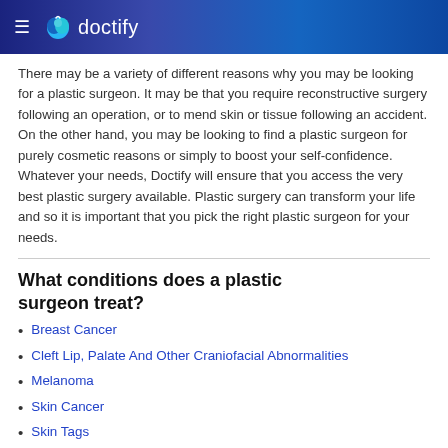doctify
There may be a variety of different reasons why you may be looking for a plastic surgeon. It may be that you require reconstructive surgery following an operation, or to mend skin or tissue following an accident. On the other hand, you may be looking to find a plastic surgeon for purely cosmetic reasons or simply to boost your self-confidence. Whatever your needs, Doctify will ensure that you access the very best plastic surgery available. Plastic surgery can transform your life and so it is important that you pick the right plastic surgeon for your needs.
What conditions does a plastic surgeon treat?
Breast Cancer
Cleft Lip, Palate And Other Craniofacial Abnormalities
Melanoma
Skin Cancer
Skin Tags
Trigger Finger